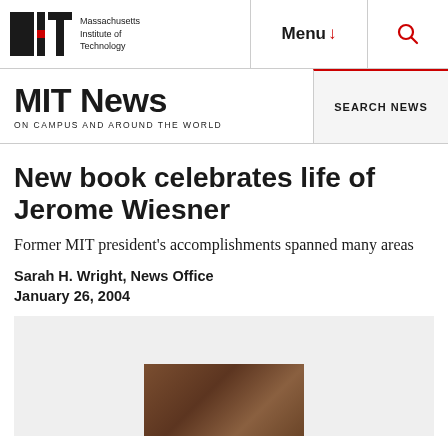Massachusetts Institute of Technology | Menu | Search
MIT News | ON CAMPUS AND AROUND THE WORLD | SEARCH NEWS
New book celebrates life of Jerome Wiesner
Former MIT president's accomplishments spanned many areas
Sarah H. Wright, News Office
January 26, 2004
[Figure (photo): Photo related to Jerome Wiesner book, partially visible at bottom of page]